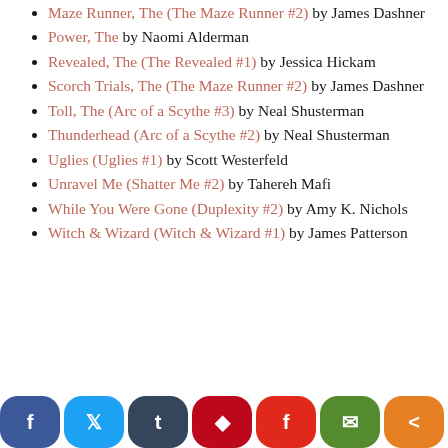Maze Runner, The (The Maze Runner #2) by James Dashner
Power, The by Naomi Alderman
Revealed, The (The Revealed #1) by Jessica Hickam
Scorch Trials, The (The Maze Runner #2) by James Dashner
Toll, The (Arc of a Scythe #3) by Neal Shusterman
Thunderhead (Arc of a Scythe #2) by Neal Shusterman
Uglies (Uglies #1) by Scott Westerfeld
Unravel Me (Shatter Me #2) by Tahereh Mafi
While You Were Gone (Duplexity #2) by Amy K. Nichols
Witch & Wizard (Witch & Wizard #1) by James Patterson